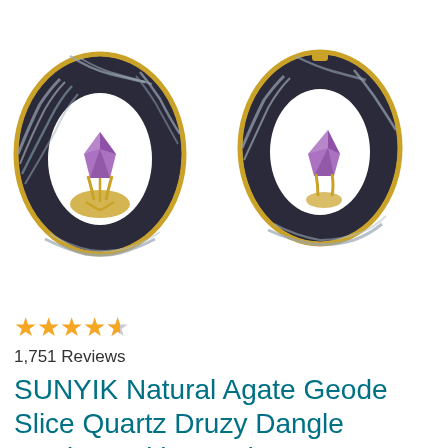[Figure (photo): Two natural agate geode slice earrings with amethyst crystal and gold metal setting, displayed on white background. The earrings are dark gray/black with swirling white patterns and gold edges, each containing a purple amethyst crystal mounted on gold prongs.]
★★★★½  1,751 Reviews
SUNYIK Natural Agate Geode Slice Quartz Druzy Dangle Earrings,with Amethyst Crystal,Gold